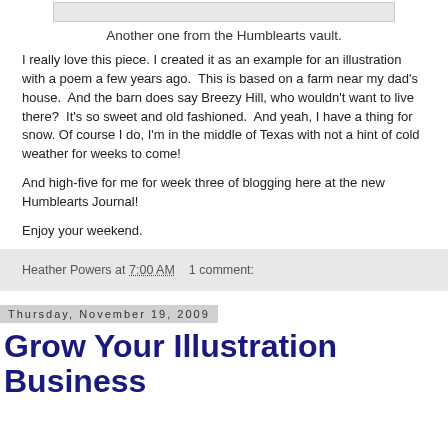[Figure (illustration): Partial image from the Humblearts vault (top cropped illustration)]
Another one from the Humblearts vault.
I really love this piece. I created it as an example for an illustration with a poem a few years ago.  This is based on a farm near my dad's house.  And the barn does say Breezy Hill, who wouldn't want to live there?  It's so sweet and old fashioned.  And yeah, I have a thing for snow. Of course I do, I'm in the middle of Texas with not a hint of cold weather for weeks to come!
And high-five for me for week three of blogging here at the new Humblearts Journal!
Enjoy your weekend.
Heather Powers at 7:00 AM   1 comment:
Thursday, November 19, 2009
Grow Your Illustration Business